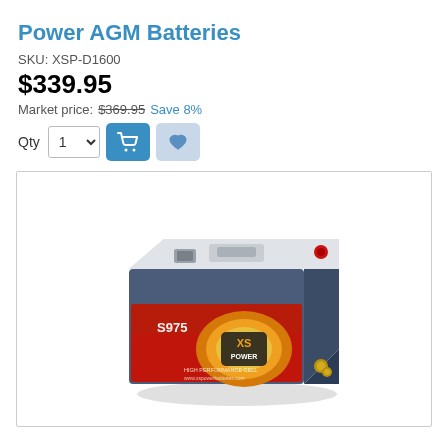Power AGM Batteries
SKU: XSP-D1600
$339.95
Market price: $369.95 Save 8%
[Figure (photo): XS Power AGM battery (model S975) shown in 3/4 angle view with red label, gray/white plastic case, and brass terminal bolts visible]